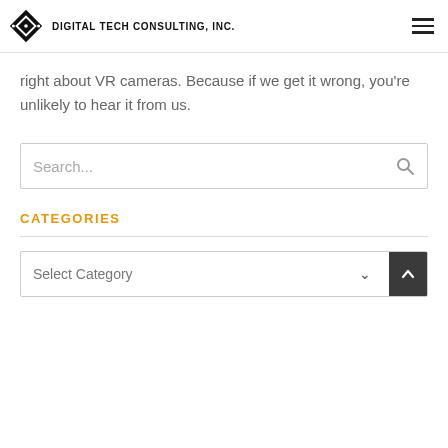DIGITAL TECH CONSULTING, INC.
right about VR cameras. Because if we get it wrong, you’re unlikely to hear it from us.
[Figure (screenshot): Search input box with placeholder text 'Search...' and a search icon on the right]
CATEGORIES
[Figure (screenshot): Dropdown select box with 'Select Category' placeholder, a chevron icon, and a dark scroll-to-top button on the right]